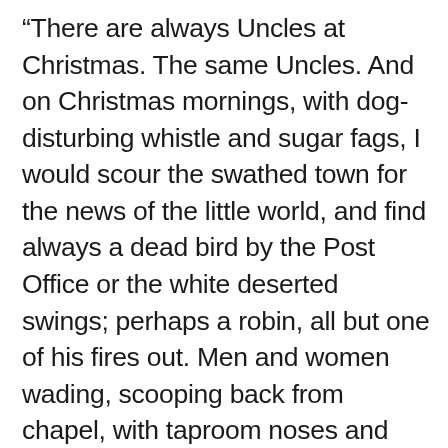“There are always Uncles at Christmas. The same Uncles. And on Christmas mornings, with dog-disturbing whistle and sugar fags, I would scour the swathed town for the news of the little world, and find always a dead bird by the Post Office or the white deserted swings; perhaps a robin, all but one of his fires out. Men and women wading, scooping back from chapel, with taproom noses and wind-bussed cheeks, all albinos, huddled their stiff black jarring feathers against the irreligious snow. Mistletoe hung from the gas brackets in all the front parlors; there was sherry and walnuts and bottled beer and crackers by the dessertspoons; and cats in their fur-abouts watched the fires;